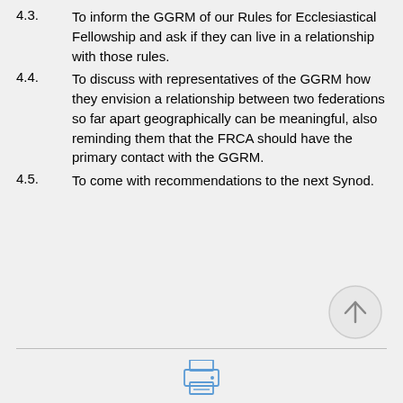4.3. To inform the GGRM of our Rules for Ecclesiastical Fellowship and ask if they can live in a relationship with those rules.
4.4. To discuss with representatives of the GGRM how they envision a relationship between two federations so far apart geographically can be meaningful, also reminding them that the FRCA should have the primary contact with the GGRM.
4.5. To come with recommendations to the next Synod.